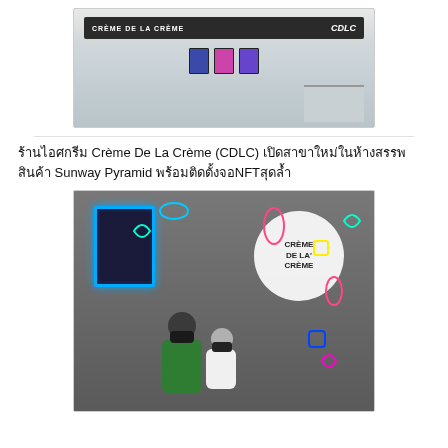[Figure (photo): Photo of Crème De La Crème (CDLC) store front showing the sign with store name and CDLC logo, interior screens and counter area]
ร้านไอศกรีม Crème De La Crème (CDLC) เปิดสาขาใหม่ในห้างสรรพสินค้า Sunway Pyramid พร้อมติดตั้งจอNFTสุดล้ำ
[Figure (photo): Photo of two people (adult and child) wearing masks posing in front of the Crème De La Crème store interior wall with neon decorations and an NFT display frame on the left]